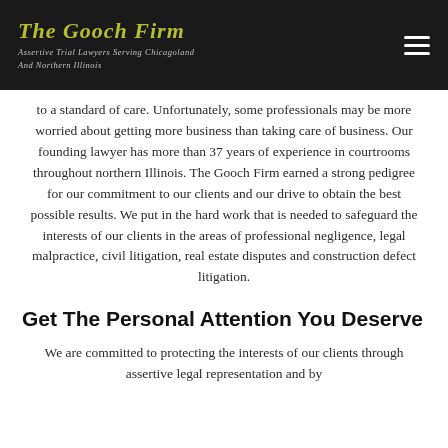The Gooch Firm
Assertive Trial Lawyers Serving Chicagoland And Northern Illinois
to a standard of care. Unfortunately, some professionals may be more worried about getting more business than taking care of business. Our founding lawyer has more than 37 years of experience in courtrooms throughout northern Illinois. The Gooch Firm earned a strong pedigree for our commitment to our clients and our drive to obtain the best possible results. We put in the hard work that is needed to safeguard the interests of our clients in the areas of professional negligence, legal malpractice, civil litigation, real estate disputes and construction defect litigation.
Get The Personal Attention You Deserve
We are committed to protecting the interests of our clients through assertive legal representation and by